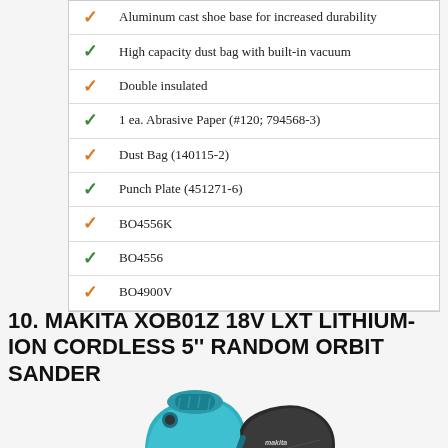| ✓ | Aluminum cast shoe base for increased durability |
| ✓ | High capacity dust bag with built-in vacuum |
| ✓ | Double insulated |
| ✓ | 1 ea. Abrasive Paper (#120; 794568-3) |
| ✓ | Dust Bag (140115-2) |
| ✓ | Punch Plate (451271-6) |
| ✓ | BO4556K |
| ✓ | BO4556 |
| ✓ | BO4900V |
10. MAKITA XOB01Z 18V LXT LITHIUM-ION CORDLESS 5'' RANDOM ORBIT SANDER
[Figure (photo): Makita XOB01Z 18V LXT Lithium-Ion Cordless 5-inch Random Orbit Sander in teal/blue color with black battery and dust canister attachment, viewed from front-left angle]